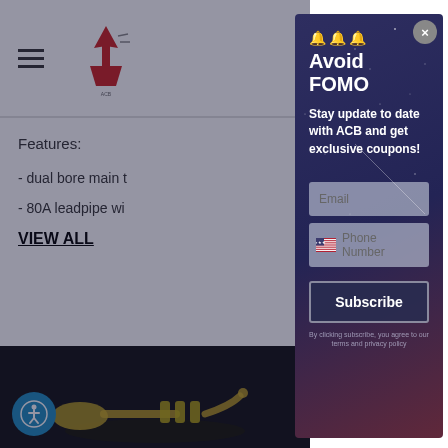[Figure (screenshot): Website background showing navigation header with hamburger menu and ACB logo, featuring text sections: Features, dual bore main tuning slide, 80A leadpipe, VIEW ALL link, RELATED PRODUCTS bar, and trumpet product image at bottom]
Features:
- dual bore main t
- 80A leadpipe wi
VIEW ALL
RELATED PROD
Avoid FOMO
Stay update to date with ACB and get exclusive coupons!
Email
Phone Number
Subscribe
By clicking subscribe, you agree to...